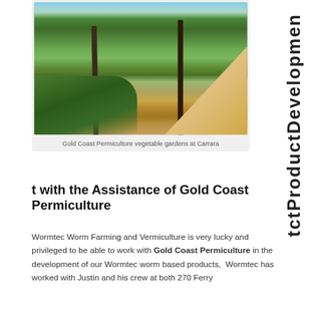ct Product Development with the Assistance of Gold Coast Permiculture
[Figure (photo): Garden photo showing Gold Coast Permiculture vegetable gardens at Carrara with lush green plants, wooden posts, and dirt paths between garden beds]
Gold Coast Permiculture vegetable gardens at Carrara
t with the Assistance of Gold Coast Permiculture
Wormtec Worm Farming and Vermiculture is very lucky and privileged to be able to work with Gold Coast Permiculture in the development of our Wormtec worm based products, Wormtec has worked with Justin and his crew at both 270 Ferry